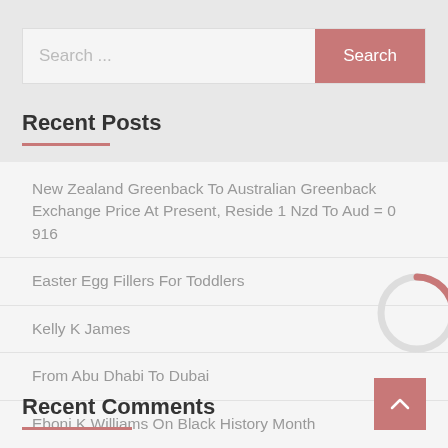Search ...
Recent Posts
New Zealand Greenback To Australian Greenback Exchange Price At Present, Reside 1 Nzd To Aud = 0 916
Easter Egg Fillers For Toddlers
Kelly K James
From Abu Dhabi To Dubai
Eboni K Williams On Black History Month
Recent Comments